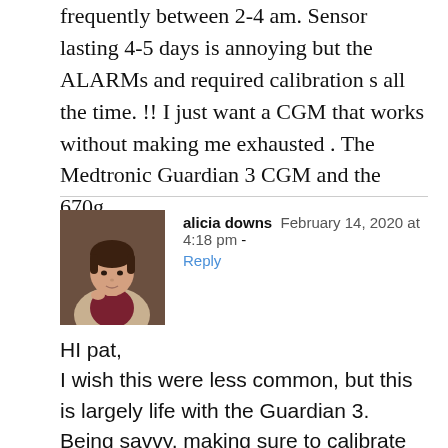frequently between 2-4 am. Sensor lasting 4-5 days is annoying but the ALARMs and required calibration s all the time. !! I just want a CGM that works without making me exhausted . The Medtronic Guardian 3 CGM and the 670g
alicia downs  February 14, 2020 at 4:18 pm -
Reply

HI pat,
I wish this were less common, but this is largely life with the Guardian 3.
Being savvy, making sure to calibrate before bed helps.
Not calibrating too often either, that can cause unneeded requests for